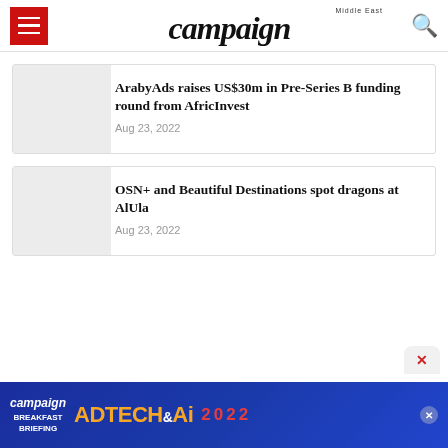campaign Middle East
ArabyAds raises US$30m in Pre-Series B funding round from AfricInvest
Aug 23, 2022
OSN+ and Beautiful Destinations spot dragons at AlUla
Aug 23, 2022
[Figure (screenshot): Campaign AdTech & AI 2022 Breakfast Briefing advertisement banner at bottom of page]